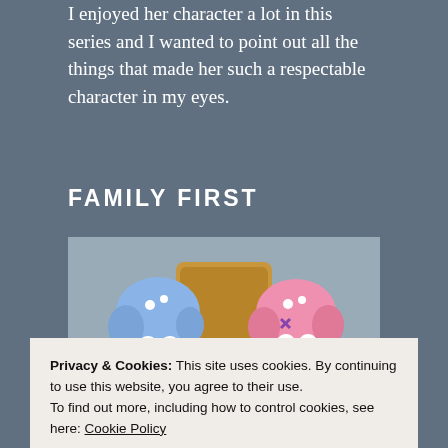I enjoyed her character a lot in this series and I wanted to point out all the things that made her such a respectable character in my eyes.
FAMILY FIRST
[Figure (photo): Anime screenshot showing two chibi-style characters: one with blue hair (Rem) and one with pink hair (Ram), both wearing white maid-style outfits, seated in front of a large cylindrical object in a decorated room.]
Privacy & Cookies: This site uses cookies. By continuing to use this website, you agree to their use.
To find out more, including how to control cookies, see here: Cookie Policy
Close and accept
sister Ram is the older of the two and was the more